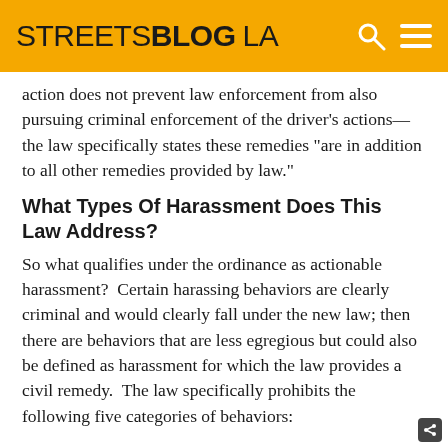STREETSBLOG LA
action does not prevent law enforcement from also pursuing criminal enforcement of the driver’s actions—the law specifically states these remedies “are in addition to all other remedies provided by law.”
What Types Of Harassment Does This Law Address?
So what qualifies under the ordinance as actionable harassment?  Certain harassing behaviors are clearly criminal and would clearly fall under the new law; then there are behaviors that are less egregious but could also be defined as harassment for which the law provides a civil remedy.  The law specifically prohibits the following five categories of behaviors: